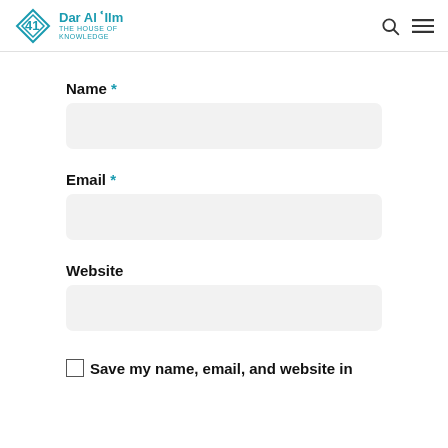Dar Al Ilm - The House of Knowledge
Name *
Email *
Website
Save my name, email, and website in